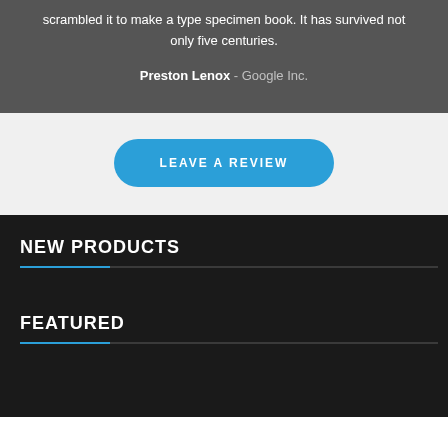scrambled it to make a type specimen book. It has survived not only five centuries.
Preston Lenox - Google Inc.
LEAVE A REVIEW
NEW PRODUCTS
FEATURED